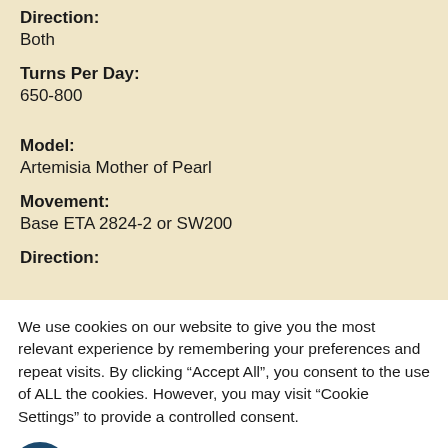Direction: Both
Turns Per Day: 650-800
Model: Artemisia Mother of Pearl
Movement: Base ETA 2824-2 or SW200
Direction:
We use cookies on our website to give you the most relevant experience by remembering your preferences and repeat visits. By clicking “Accept All”, you consent to the use of ALL the cookies. However, you may visit “Cookie Settings” to provide a controlled consent.